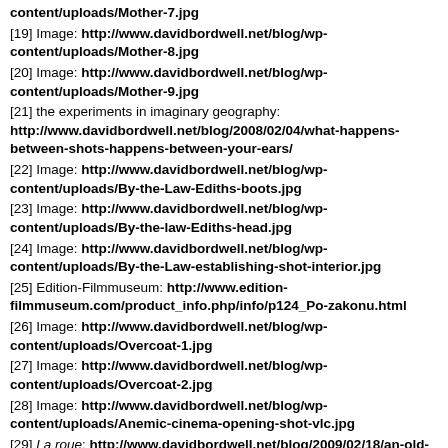content/uploads/Mother-7.jpg
[19] Image: http://www.davidbordwell.net/blog/wp-content/uploads/Mother-8.jpg
[20] Image: http://www.davidbordwell.net/blog/wp-content/uploads/Mother-9.jpg
[21] the experiments in imaginary geography: http://www.davidbordwell.net/blog/2008/02/04/what-happens-between-shots-happens-between-your-ears/
[22] Image: http://www.davidbordwell.net/blog/wp-content/uploads/By-the-Law-Ediths-boots.jpg
[23] Image: http://www.davidbordwell.net/blog/wp-content/uploads/By-the-law-Ediths-head.jpg
[24] Image: http://www.davidbordwell.net/blog/wp-content/uploads/By-the-Law-establishing-shot-interior.jpg
[25] Edition-Filmmuseum: http://www.edition-filmmuseum.com/product_info.php/info/p124_Po-zakonu.html
[26] Image: http://www.davidbordwell.net/blog/wp-content/uploads/Overcoat-1.jpg
[27] Image: http://www.davidbordwell.net/blog/wp-content/uploads/Overcoat-2.jpg
[28] Image: http://www.davidbordwell.net/blog/wp-content/uploads/Anemic-cinema-opening-shot-vlc.jpg
[29] La roue: http://www.davidbordwell.net/blog/2009/02/18/an-old-fashioned-sentimental-avant-garde-film/
[30] L'inhumaine: http://www.davidbordwell.net/blog/2016/04/09/linhumaine-modern-art-modern-cinema/